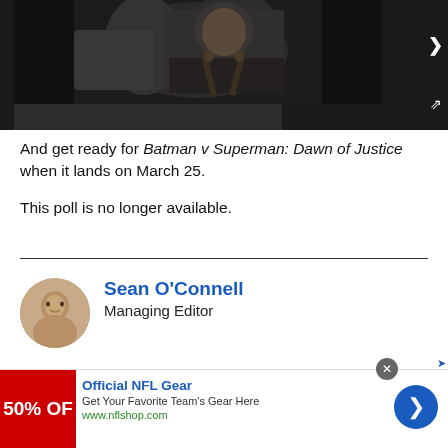[Figure (screenshot): Video player showing a dark scene with a person with long hair, embedded in a dark player interface with navigation chevron and expand icon]
And get ready for Batman v Superman: Dawn of Justice when it lands on March 25.
This poll is no longer available.
Sean O'Connell
Managing Editor
[Figure (photo): Author headshot of Sean O'Connell, circular cropped portrait photo]
Official NFL Gear
Get Your Favorite Team's Gear Here
www.nflshop.com